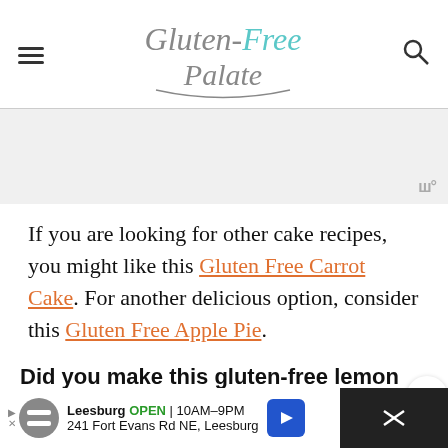Gluten-Free Palate (navigation header with hamburger menu and search icon)
[Figure (other): Gray advertisement placeholder area with 'www' badge in bottom right]
If you are looking for other cake recipes, you might like this Gluten Free Carrot Cake. For another delicious option, consider this Gluten Free Apple Pie.
Did you make this gluten-free lemon cake? I want to know what you thought!
[Figure (other): Bottom advertisement banner: Leesburg OPEN 10AM-9PM, 241 Fort Evans Rd NE, Leesburg]